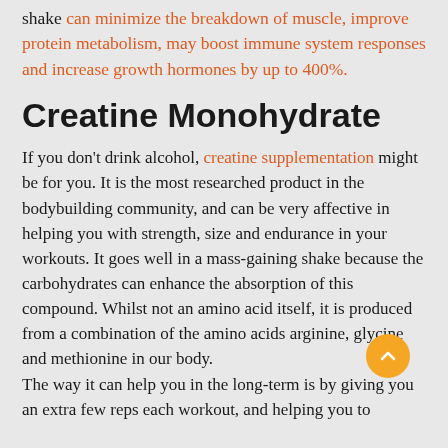shake can minimize the breakdown of muscle, improve protein metabolism, may boost immune system responses and increase growth hormones by up to 400%.
Creatine Monohydrate
If you don't drink alcohol, creatine supplementation might be for you. It is the most researched product in the bodybuilding community, and can be very affective in helping you with strength, size and endurance in your workouts. It goes well in a mass-gaining shake because the carbohydrates can enhance the absorption of this compound. Whilst not an amino acid itself, it is produced from a combination of the amino acids arginine, glycine and methionine in our body. The way it can help you in the long-term is by giving you an extra few reps each workout, and helping you to